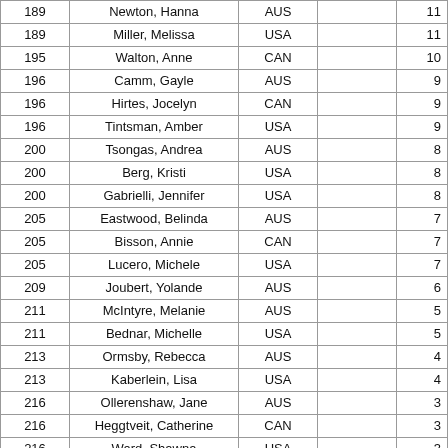| Rank | Name | Country |  | Score |
| --- | --- | --- | --- | --- |
| 189 | Newton, Hanna | AUS |  | 11 |
| 189 | Miller, Melissa | USA |  | 11 |
| 195 | Walton, Anne | CAN |  | 10 |
| 196 | Camm, Gayle | AUS |  | 9 |
| 196 | Hirtes, Jocelyn | CAN |  | 9 |
| 196 | Tintsman, Amber | USA |  | 9 |
| 200 | Tsongas, Andrea | AUS |  | 8 |
| 200 | Berg, Kristi | USA |  | 8 |
| 200 | Gabrielli, Jennifer | USA |  | 8 |
| 205 | Eastwood, Belinda | AUS |  | 7 |
| 205 | Bisson, Annie | CAN |  | 7 |
| 205 | Lucero, Michele | USA |  | 7 |
| 209 | Joubert, Yolande | AUS |  | 6 |
| 211 | McIntyre, Melanie | AUS |  | 5 |
| 211 | Bednar, Michelle | USA |  | 5 |
| 213 | Ormsby, Rebecca | AUS |  | 4 |
| 213 | Kaberlein, Lisa | USA |  | 4 |
| 216 | Ollerenshaw, Jane | AUS |  | 3 |
| 216 | Heggtveit, Catherine | CAN |  | 3 |
| 216 | Ward, Shawna | USA |  | 3 |
| 219 | DeCarlo, Katherine | USA |  | 2 |
| 221 | Naughton, Amber | USA |  | 1 |
| 221 | Housewilliamson, Tammy | USA |  | 1 |